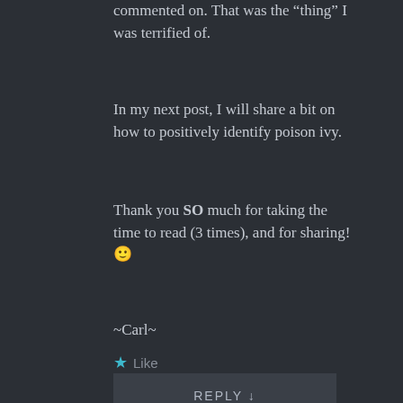commented on. That was the “thing” I was terrified of.
In my next post, I will share a bit on how to positively identify poison ivy.
Thank you SO much for taking the time to read (3 times), and for sharing! 🙂
~Carl~
★ Like
REPLY ↓